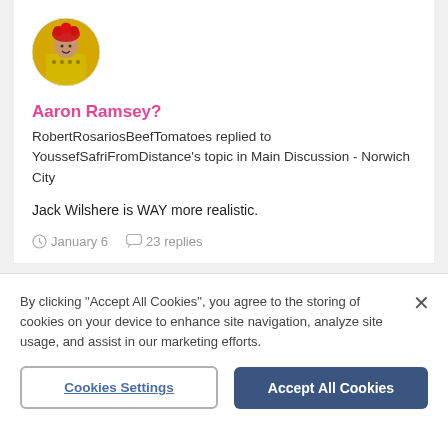[Figure (photo): Circular avatar showing a soccer player in yellow jersey with red flower/hat decoration]
Aaron Ramsey?
RobertRosariosBeefTomatoes replied to YoussefSafriFromDistance's topic in Main Discussion - Norwich City
Jack Wilshere is WAY more realistic.
January 6  23 replies
[Figure (photo): Second circular avatar showing same soccer player in yellow jersey with red flower/hat decoration]
By clicking "Accept All Cookies", you agree to the storing of cookies on your device to enhance site navigation, analyze site usage, and assist in our marketing efforts.
Cookies Settings
Accept All Cookies